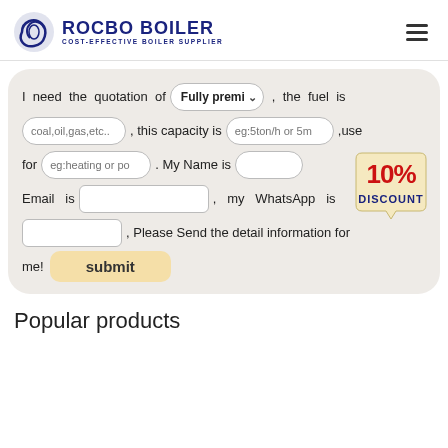[Figure (logo): Rocbo Boiler logo with circular blue icon and text 'ROCBO BOILER COST-EFFECTIVE BOILER SUPPLIER']
I need the quotation of [Fully premi ▾] , the fuel is [coal,oil,gas,etc..] , this capacity is [eg:5ton/h or 5m] , use for [eg:heating or po] . My Name is [ ] Email is [ ] , my WhatsApp is [ ] , Please Send the detail information for me!
[Figure (infographic): 10% DISCOUNT badge in red and blue on a tag shape]
Popular products